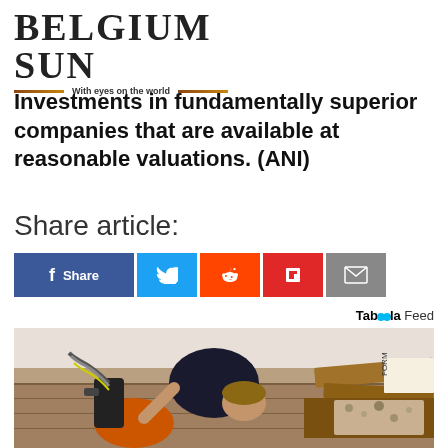[Figure (logo): Belgium Sun newspaper logo with tagline 'With eyes on the world']
Investments in fundamentally superior companies that are available at reasonable valuations. (ANI)
Share article:
[Figure (infographic): Social share buttons: Facebook Share, Twitter, Reddit, Flipboard, Email]
Taboola Feed
[Figure (photo): A person in a dark t-shirt bending over machinery (orange floor machine) on a damaged floor with wooden boards]